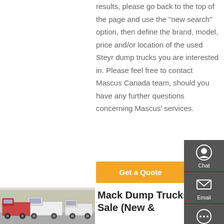results, please go back to the top of the page and use the "new search" option, then define the brand, model, price and/or location of the used Steyr dump trucks you are interested in. Please feel free to contact Mascus Canada team, should you have any further questions concerning Mascus' services.
Get a Quote
[Figure (photo): Photo of Mack dump trucks parked in a lot, multiple trucks visible]
Mack Dump Trucks For Sale (New &